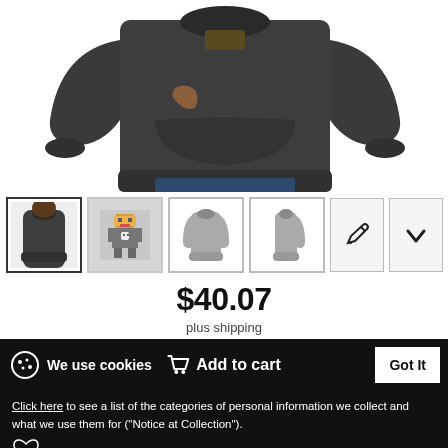[Figure (photo): Product photo of a dark charcoal/grey hoodie sweatshirt worn by a person, cropped to show torso and arms, white background]
[Figure (photo): Row of product thumbnail images: (1) person wearing dark hoodie - selected/highlighted, (2) pixel art character graphic on grey background, (3) grey hoodie silhouette front view, (4) grey hoodie silhouette side view, (5) pencil/edit icon button, (6) checkmark/down arrow icon button]
$40.07
plus shipping
We use cookies
Add to cart
Got It
Click here to see a list of the categories of personal information we collect and what we use them for ("Notice at Collection").
Privacy Policy
Do Not Sell My Personal Information
By using this website, I agree to the Terms and Conditions